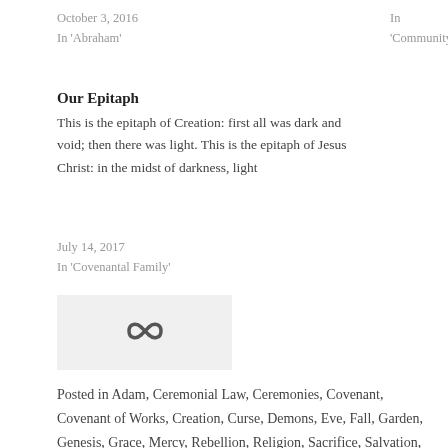October 3, 2016
In 'Abraham'
In 'Community'
Our Epitaph
This is the epitaph of Creation: first all was dark and void; then there was light. This is the epitaph of Jesus Christ: in the midst of darkness, light
July 14, 2017
In 'Covenantal Family'
[Figure (other): Chain link / share icon on light grey background]
Posted in Adam, Ceremonial Law, Ceremonies, Covenant, Covenant of Works, Creation, Curse, Demons, Eve, Fall, Garden, Genesis, Grace, Mercy, Rebellion, Religion, Sacrifice, Salvation, Satan, Uncategorized